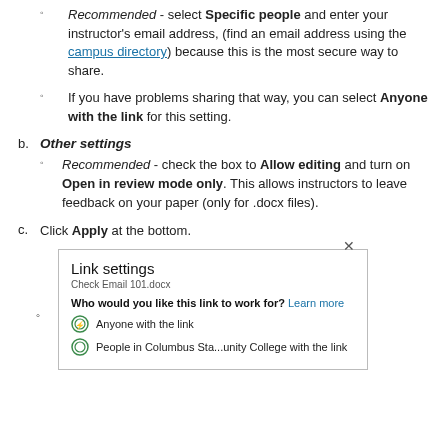Recommended - select Specific people and enter your instructor's email address, (find an email address using the campus directory) because this is the most secure way to share.
If you have problems sharing that way, you can select Anyone with the link for this setting.
b. Other settings
Recommended - check the box to Allow editing and turn on Open in review mode only. This allows instructors to leave feedback on your paper (only for .docx files).
c. Click Apply at the bottom.
[Figure (screenshot): Link settings dialog box showing 'Check Email 101.docx', question 'Who would you like this link to work for? Learn more', and options: 'Anyone with the link' and 'People in Columbus Sta...unity College with the link']